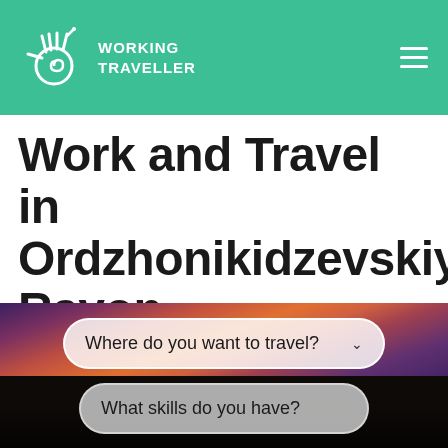WORKING TRAVELLER
Work and Travel in Ordzhonikidzevskiy Rayon
[Figure (screenshot): Sunset landscape background image with dramatic purple-orange sky and dark silhouetted treeline below, serving as background for search dropdowns]
Where do you want to travel?
What skills do you have?